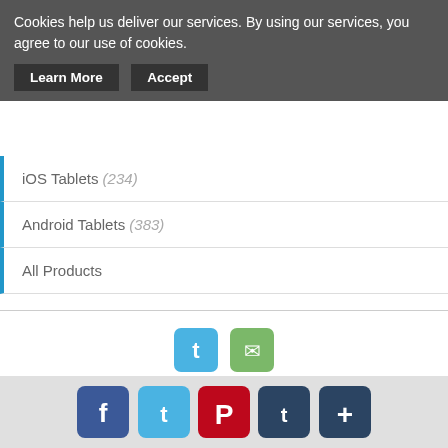Cookies help us deliver our services. By using our services, you agree to our use of cookies.
Learn More   Accept
iOS Tablets (234)
Android Tablets (383)
All Products
[Figure (other): Twitter and email social icons]
Nerdy Computers, Laptops and Tablets   Cookie Consent Policy   Site Map   Terms & Conditions   Shopping Basket   Privacy Policy
Nerdy Computers, Laptops and Tablets
Copyright © 2022. All rights reserved.
Nerdy Computers, Laptops and Tablets is a participant in the
[Figure (other): Social share buttons: Facebook, Twitter, Pinterest, Tumblr, More]